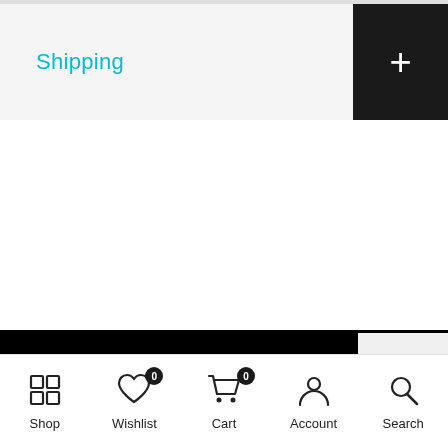Shipping
Shop  Wishlist 0  Cart 0  Account  Search